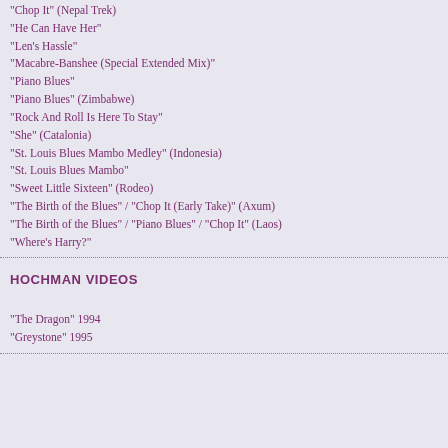"Chop It" (Nepal Trek)
"He Can Have Her"
"Len's Hassle"
"Macabre-Banshee (Special Extended Mix)"
"Piano Blues"
"Piano Blues" (Zimbabwe)
"Rock And Roll Is Here To Stay"
"She" (Catalonia)
"St. Louis Blues Mambo Medley" (Indonesia)
"St. Louis Blues Mambo"
"Sweet Little Sixteen" (Rodeo)
"The Birth of the Blues" / "Chop It (Early Take)" (Axum)
"The Birth of the Blues" / "Piano Blues" / "Chop It" (Laos)
"Where's Harry?"
HOCHMAN VIDEOS
"The Dragon" 1994
"Greystone" 1995